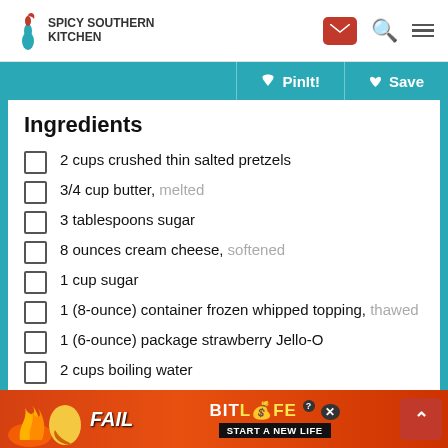Spicy Southern Kitchen
PinIt! Save
Ingredients
2 cups crushed thin salted pretzels
3/4 cup butter, melted
3 tablespoons sugar
8 ounces cream cheese, softened
1 cup sugar
1 (8-ounce) container frozen whipped topping, thawed
1 (6-ounce) package strawberry Jello-O
2 cups boiling water
2 cups thinly sliced fresh strawberries
[Figure (screenshot): BitLife advertisement banner at the bottom of the page with 'FAIL' text and 'START A NEW LIFE' tagline]